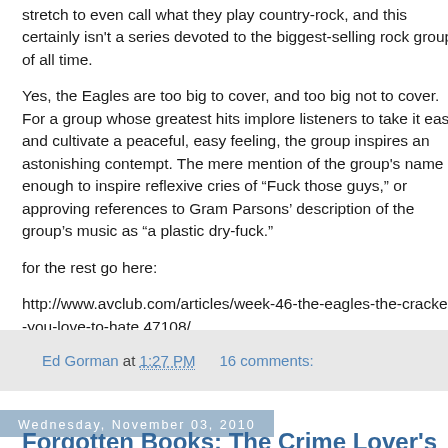stretch to even call what they play country-rock, and this certainly isn't a series devoted to the biggest-selling rock groups of all time.
Yes, the Eagles are too big to cover, and too big not to cover. For a group whose greatest hits implore listeners to take it easy and cultivate a peaceful, easy feeling, the group inspires an astonishing contempt. The mere mention of the group's name is enough to inspire reflexive cries of “Fuck those guys,” or approving references to Gram Parsons’ description of the group’s music as “a plastic dry-fuck.”
for the rest go here:
http://www.avclub.com/articles/week-46-the-eagles-the-crackers-you-love-to-hate,47108/
Ed Gorman at 1:27 PM   16 comments:
Wednesday, November 03, 2010
Forgotten Books: The Crime Lover’s